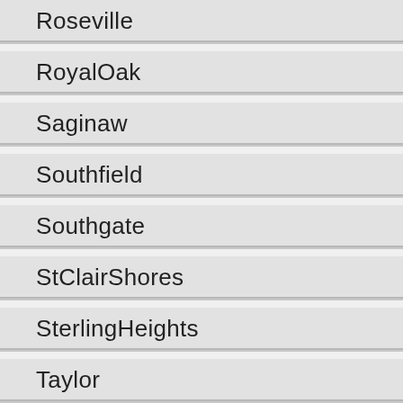Roseville
RoyalOak
Saginaw
Southfield
Southgate
StClairShores
SterlingHeights
Taylor